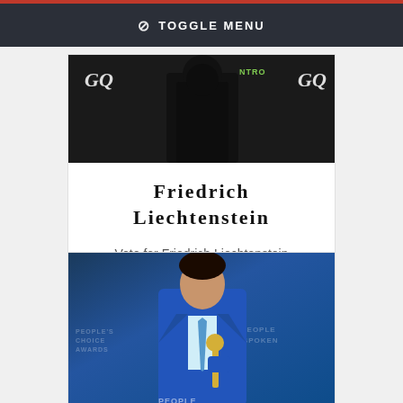⊘ TOGGLE MENU
[Figure (photo): Photo of Friedrich Liechtenstein at a GQ event, person in dark clothing against dark background with GQ branding]
Friedrich Liechtenstein
Vote for Friedrich Liechtenstein
[Figure (photo): Photo of a young man in a blue suit holding an award at People's Choice Awards event, with blue tie, at a branded backdrop]